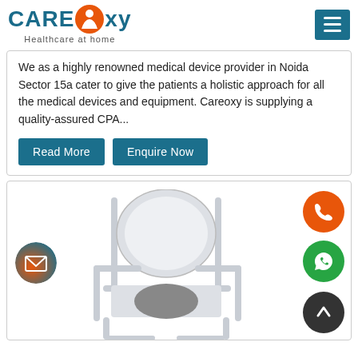[Figure (logo): Careoxy Healthcare at home logo with teal CARE text, orange circle person icon, and teal OXY text]
We as a highly renowned medical device provider in Noida Sector 15a cater to give the patients a holistic approach for all the medical devices and equipment. Careoxy is supplying a quality-assured CPA...
Read More
Enquire Now
[Figure (photo): A commode/toilet chair with metal frame and plastic seat, photographed on white background. Floating action buttons visible: orange phone, green whatsapp, dark up-arrow, and gradient email button.]